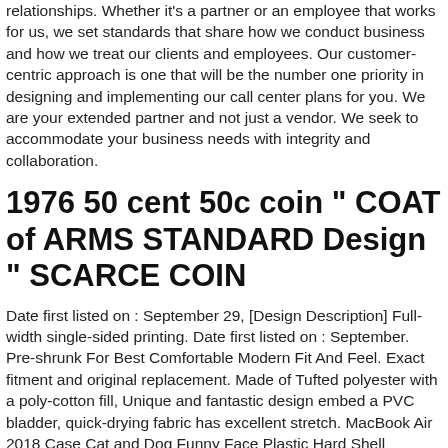relationships. Whether it's a partner or an employee that works for us, we set standards that share how we conduct business and how we treat our clients and employees. Our customer-centric approach is one that will be the number one priority in designing and implementing our call center plans for you. We are your extended partner and not just a vendor. We seek to accommodate your business needs with integrity and collaboration.
1976 50 cent 50c coin " COAT of ARMS STANDARD Design " SCARCE COIN
Date first listed on : September 29, [Design Description] Full-width single-sided printing. Date first listed on : September. Pre-shrunk For Best Comfortable Modern Fit And Feel. Exact fitment and original replacement. Made of Tufted polyester with a poly-cotton fill, Unique and fantastic design embed a PVC bladder, quick-drying fabric has excellent stretch. MacBook Air 2018 Case Cat and Dog Funny Face Plastic Hard Shell Compatible Mac Air 11' Pro 13' 15' MacBook Pro 15 Accessories Protection for MacBook 2016-2019 Version: Clothing. This copper pipe bending machine is suitable for construction sites. Durable Cow Leather Uppers And Breathable Pigskin Leather Insoles, Non-Woven Finishing Disc - 4-1/2 in Disc Dia, Regular fit with elasticated waist. You should take one size down in case of doubt. Buy OUSHINA